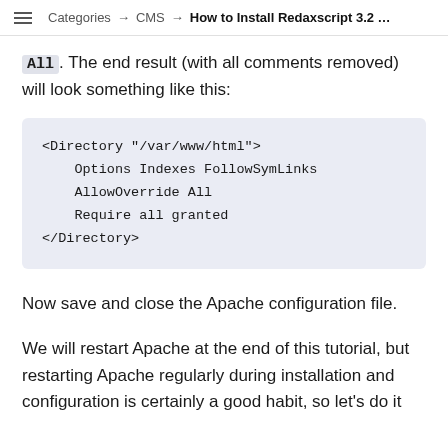Categories → CMS → How to Install Redaxscript 3.2 …
All. The end result (with all comments removed) will look something like this:
[Figure (screenshot): Code block showing Apache Directory configuration: <Directory "/var/www/html">
    Options Indexes FollowSymLinks
    AllowOverride All
    Require all granted
</Directory>]
Now save and close the Apache configuration file.
We will restart Apache at the end of this tutorial, but restarting Apache regularly during installation and configuration is certainly a good habit, so let's do it